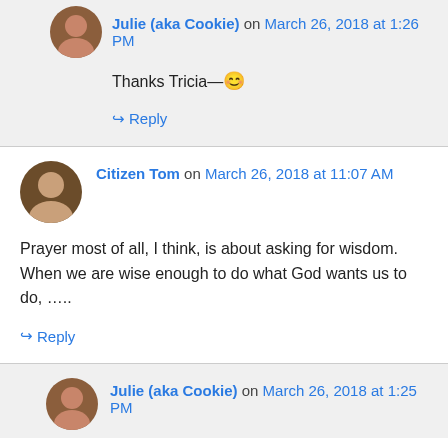Julie (aka Cookie) on March 26, 2018 at 1:26 PM
Thanks Tricia—😊
↪ Reply
Citizen Tom on March 26, 2018 at 11:07 AM
Prayer most of all, I think, is about asking for wisdom. When we are wise enough to do what God wants us to do, …..
↪ Reply
Julie (aka Cookie) on March 26, 2018 at 1:25 PM